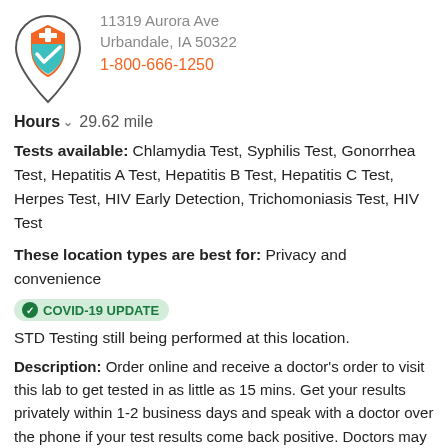[Figure (logo): Medical shield/location pin logo with orange and teal medical cross and checkmark]
11319 Aurora Ave
Urbandale, IA 50322
1-800-666-1250
Hours  29.62 mile
Tests available: Chlamydia Test, Syphilis Test, Gonorrhea Test, Hepatitis A Test, Hepatitis B Test, Hepatitis C Test, Herpes Test, HIV Early Detection, Trichomoniasis Test, HIV Test
These location types are best for: Privacy and convenience
COVID-19 UPDATE  STD Testing still being performed at this location.
Description: Order online and receive a doctor's order to visit this lab to get tested in as little as 15 mins. Get your results privately within 1-2 business days and speak with a doctor over the phone if your test results come back positive. Doctors may